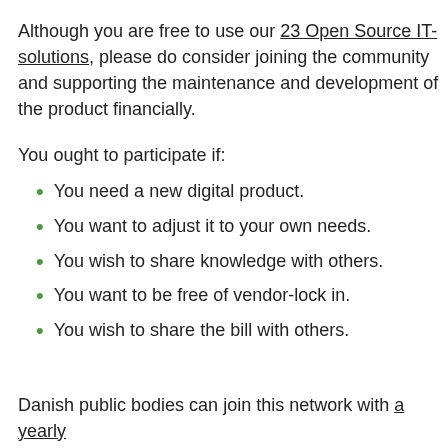Although you are free to use our 23 Open Source IT-solutions, please do consider joining the community and supporting the maintenance and development of the product financially.
You ought to participate if:
You need a new digital product.
You want to adjust it to your own needs.
You wish to share knowledge with others.
You want to be free of vendor-lock in.
You wish to share the bill with others.
Danish public bodies can join this network with a yearly